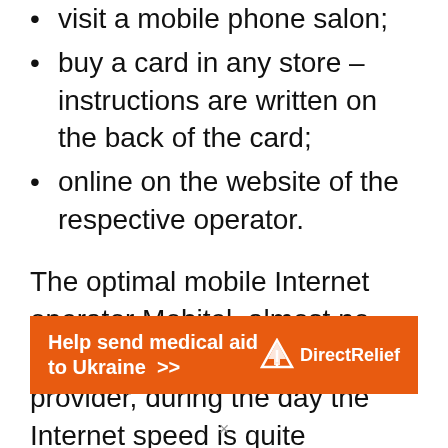visit a mobile phone salon;
buy a card in any store – instructions are written on the back of the card;
online on the website of the respective operator.
The optimal mobile Internet operator Mobitel, almost no complaints. As for the Dialog provider, during the day the Internet speed is quite comfortable, but in the evenings it catastrophically drops. Yes, and Dialog's services are the most expensive. The Hutch mobile provider is pretty stable, but finding a card is very
[Figure (infographic): Orange advertisement banner reading 'Help send medical aid to Ukraine >>' with Direct Relief logo on the right]